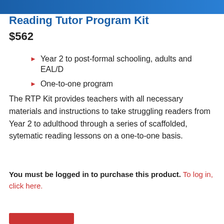Reading Tutor Program Kit
$562
Year 2 to post-formal schooling, adults and EAL/D
One-to-one program
The RTP Kit provides teachers with all necessary materials and instructions to take struggling readers from Year 2 to adulthood through a series of scaffolded, sytematic reading lessons on a one-to-one basis.
You must be logged in to purchase this product. To log in, click here.